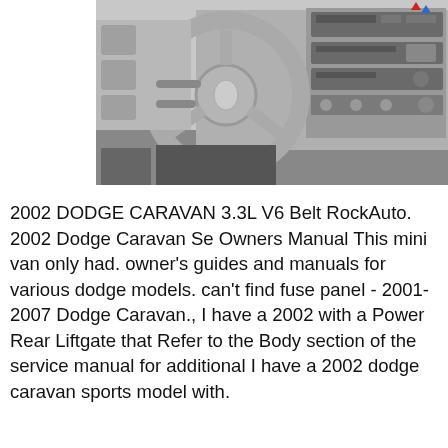[Figure (photo): Black and white photograph of the interior dashboard of a 2002 Dodge Caravan, showing the steering wheel with Dodge logo, center console with radio/audio controls, and instrument panel area.]
2002 DODGE CARAVAN 3.3L V6 Belt RockAuto. 2002 Dodge Caravan Se Owners Manual This mini van only had. owner's guides and manuals for various dodge models. can't find fuse panel - 2001-2007 Dodge Caravan., I have a 2002 with a Power Rear Liftgate that Refer to the Body section of the service manual for additional I have a 2002 dodge caravan sports model with.